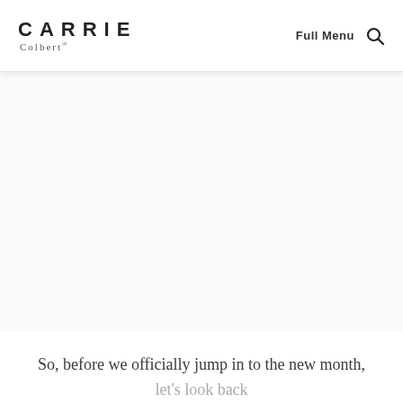CARRIE Colbert — Full Menu [search]
[Figure (photo): Large image area, mostly white/blank content area below the header navigation]
So, before we officially jump in to the new month, let's look back